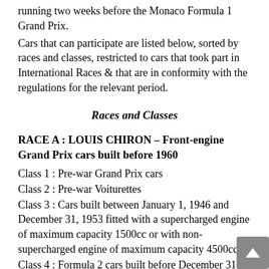running two weeks before the Monaco Formula 1 Grand Prix.
Cars that can participate are listed below, sorted by races and classes, restricted to cars that took part in International Races & that are in conformity with the regulations for the relevant period.
Races and Classes
RACE A : LOUIS CHIRON – Front-engine Grand Prix cars built before 1960
Class 1 : Pre-war Grand Prix cars
Class 2 : Pre-war Voiturettes
Class 3 : Cars built between January 1, 1946 and December 31, 1953 fitted with a supercharged engine of maximum capacity 1500cc or with non-supercharged engine of maximum capacity 4500cc
Class 4 : Formula 2 cars built before December 31, 1953, with non-supercharged engine and a